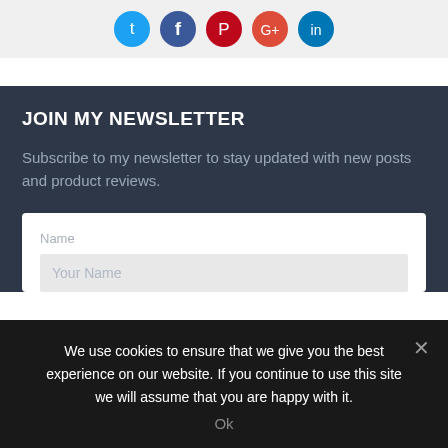[Figure (illustration): Social media icons (Twitter, Facebook, Pinterest, Google+, LinkedIn) displayed as colored circular buttons on a light gray bar]
JOIN MY NEWSLETTER
Subscribe to my newsletter to stay updated with new posts and product reviews.
Name
Your Name
We use cookies to ensure that we give you the best experience on our website. If you continue to use this site we will assume that you are happy with it.
Ok